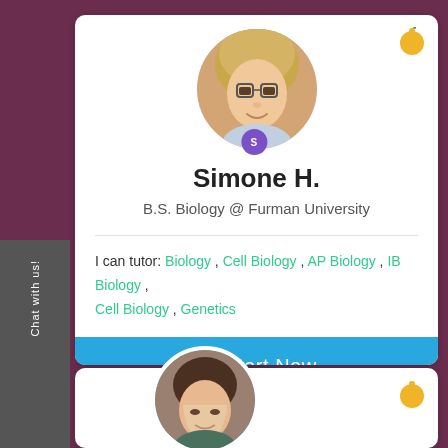[Figure (photo): Profile photo of tutor Simone H., a young woman with blonde hair and glasses, circular crop]
Simone H.
B.S. Biology @ Furman University
I can tutor: Biology , Cell Biology , AP Biology , IB Biology , Cell Biology , Genetics
Start Now
[Figure (photo): Profile photo of a second tutor, a young woman with dark hair, circular crop, partially visible]